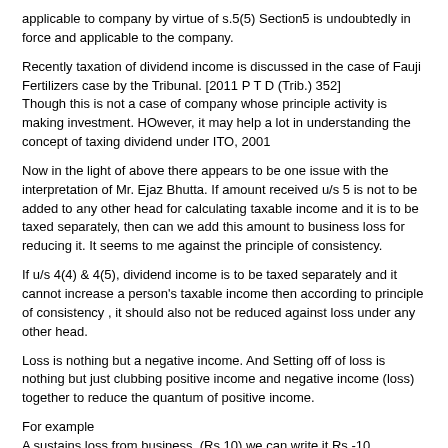applicable to company by virtue of s.5(5) Section5 is undoubtedly in force and applicable to the company.
Recently taxation of dividend income is discussed in the case of Fauji Fertilizers case by the Tribunal. [2011 P T D (Trib.) 352] Though this is not a case of company whose principle activity is making investment. HOwever, it may help a lot in understanding the concept of taxing dividend under ITO, 2001
Now in the light of above there appears to be one issue with the interpretation of Mr. Ejaz Bhutta. If amount received u/s 5 is not to be added to any other head for calculating taxable income and it is to be taxed separately, then can we add this amount to business loss for reducing it. It seems to me against the principle of consistency.
If u/s 4(4) & 4(5), dividend income is to be taxed separately and it cannot increase a person's taxable income then according to principle of consistency , it should also not be reduced against loss under any other head.
Loss is nothing but a negative income. And Setting off of loss is nothing but just clubbing positive income and negative income (loss) together to reduce the quantum of positive income.
For example
A sustains loss from business. (Rs.10) we can write it Rs.-10
A earns salary income 100
Now the taxable income would be 100 + (-10) = 90.. Loss under one head has reduced profit under the other.